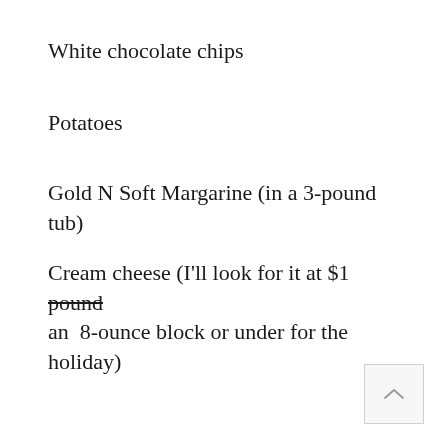White chocolate chips
Potatoes
Gold N Soft Margarine (in a 3-pound tub)
Cream cheese (I'll look for it at $1 pound an 8-ounce block or under for the holiday)